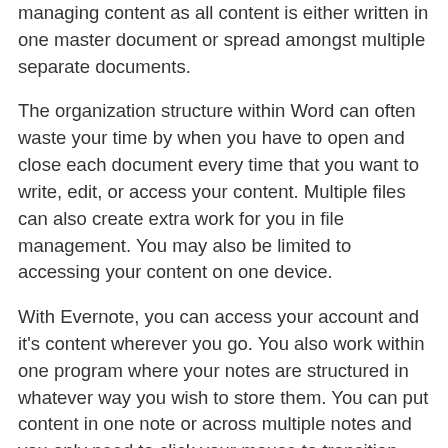managing content as all content is either written in one master document or spread amongst multiple separate documents.
The organization structure within Word can often waste your time by when you have to open and close each document every time that you want to write, edit, or access your content. Multiple files can also create extra work for you in file management. You may also be limited to accessing your content on one device.
With Evernote, you can access your account and it’s content wherever you go. You also work within one program where your notes are structured in whatever way you wish to store them. You can put content in one note or across multiple notes and you only need to click your mouse to transition between each note.
Below is a folder structure of the Evernote Blogging Package we sell in the store: